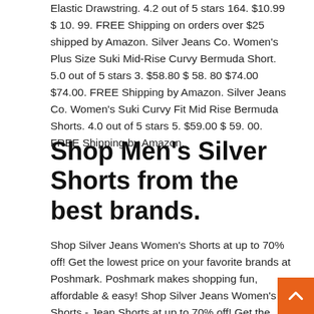Elastic Drawstring. 4.2 out of 5 stars 164. $10.99 $ 10. 99. FREE Shipping on orders over $25 shipped by Amazon. Silver Jeans Co. Women's Plus Size Suki Mid-Rise Curvy Bermuda Short. 5.0 out of 5 stars 3. $58.80 $ 58. 80 $74.00 $74.00. FREE Shipping by Amazon. Silver Jeans Co. Women's Suki Curvy Fit Mid Rise Bermuda Shorts. 4.0 out of 5 stars 5. $59.00 $ 59. 00. FREE Shipping by Amazon.
Shop Men's Silver Shorts from the best brands.
Shop Silver Jeans Women's Shorts at up to 70% off! Get the lowest price on your favorite brands at Poshmark. Poshmark makes shopping fun, affordable & easy! Shop Silver Jeans Women's Shorts - Jean Shorts at up to 70% off! Get the lowest price on your favorite brands at Poshmark. Poshmark makes shopping fun,  1-48 of 666 results for Clothing & Accessories Women : Shorts : Silver. Skip to main search results. Amazon Prime. Shipping Option. FREE Shipping. Silver Tirered Fringe